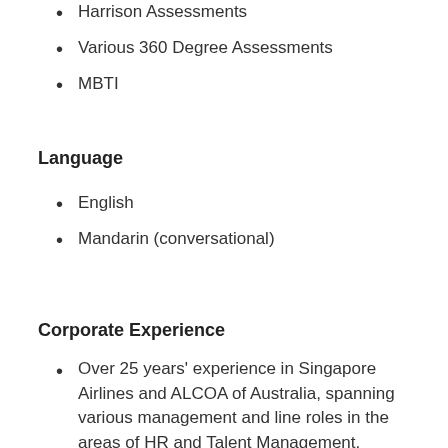Harrison Assessments
Various 360 Degree Assessments
MBTI
Language
English
Mandarin (conversational)
Corporate Experience
Over 25 years' experience in Singapore Airlines and ALCOA of Australia, spanning various management and line roles in the areas of HR and Talent Management, Leadership Development, Commercial